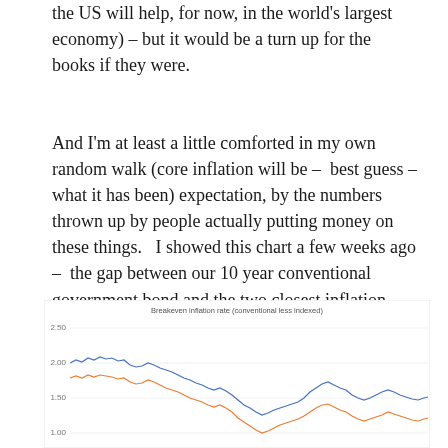the US will help, for now, in the world's largest economy) – but it would be a turn up for the books if they were.
And I'm at least a little comforted in my own random walk (core inflation will be – best guess – what it has been) expectation, by the numbers thrown up by people actually putting money on these things.   I showed this chart a few weeks ago – the gap between our 10 year conventional government bond and the two closest inflation-indexed bonds.
[Figure (continuous-plot): A line chart showing two lines (blue and orange) representing breakeven inflation rates over time. The y-axis shows values from approximately 1.00 to 2.50. Both lines start near 2.00, fluctuate and generally decline, reaching around 1.00 in the middle, then rise again toward 1.50 by the right edge.]